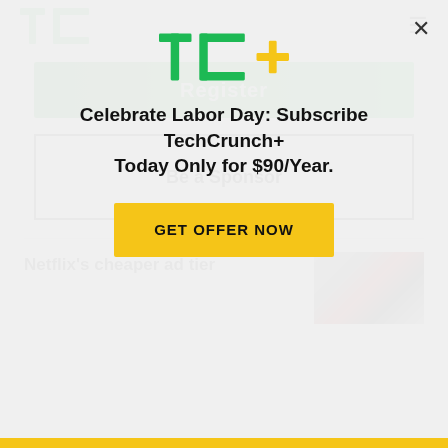TechCrunch logo and hamburger menu
Register
Be a Sponsor
Netflix's cheaper ad tier
[Figure (screenshot): Thumbnail image of Netflix article with dark and red tones]
[Figure (logo): TC+ logo popup overlay]
Celebrate Labor Day: Subscribe TechCrunch+ Today Only for $90/Year.
GET OFFER NOW